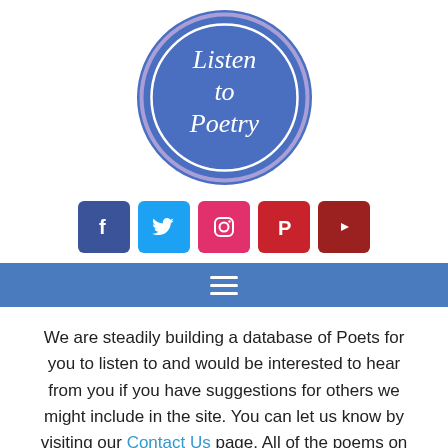[Figure (logo): Circular logo with blue background and white double-ring border. Text reads 'Listen to Poetry' in white italic cursive font.]
[Figure (infographic): Row of five social media icon buttons: Facebook (dark blue, f), Twitter (light blue, bird), Instagram (pink/red, camera), Pinterest (red, P), YouTube (dark red, play triangle).]
[Figure (other): Blue navigation bar with white hamburger menu icon (three horizontal lines).]
We are steadily building a database of Poets for you to listen to and would be interested to hear from you if you have suggestions for others we might include in the site. You can let us know by visiting our Contact Us page. All of the poems on this website have been narrated by Gerald Cox, you can find out